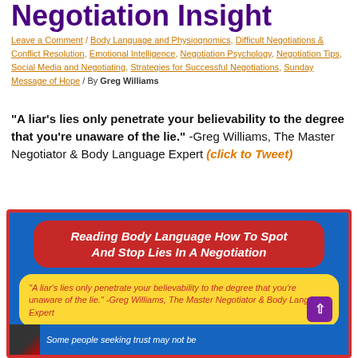Negotiation Insight
Leave a Comment / Body Language and Physiognomics, Difficult Negotiations & Conflict Resolution, Emotional Intelligence, Negotiation Psychology, Negotiation Tips, Social Media and Negotiating, Strategies for Successful Negotiations, Sunday Message of Hope / By Greg Williams
"A liar's lies only penetrate your believability to the degree that you're unaware of the lie." -Greg Williams, The Master Negotiator & Body Language Expert (click to Tweet)
[Figure (infographic): Infographic with blue background and red border. Red rounded banner reads 'Reading Body Language How To Spot And Stop Lies In A Negotiation'. Yellow rounded box contains quote: 'A liar's lies only penetrate your believability to the degree that you're unaware of the lie.' -Greg Williams, The Master Negotiator & Body Language Expert. Purple scroll-up button in bottom right. Bottom strip with thumbnail image and text 'Some people seeking trust may not be']